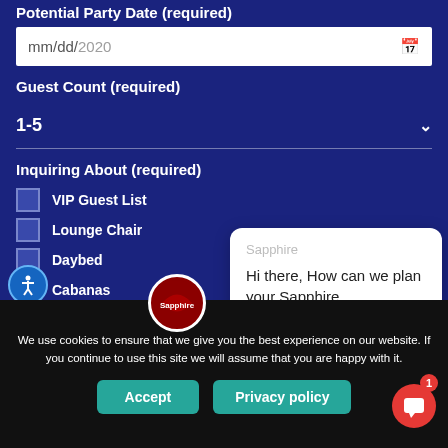Potential Party Date (required)
mm/dd/2020
Guest Count (required)
1-5
Inquiring About (required)
VIP Guest List
Lounge Chair
Daybed
Cabanas
Open Bar Packag...
Sapphire
Hi there, How can we plan your Sapphire...
[Figure (logo): Sapphire circular logo in red and white]
We use cookies to ensure that we give you the best experience on our website. If you continue to use this site we will assume that you are happy with it.
Accept
Privacy policy